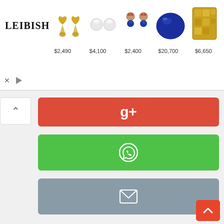[Figure (screenshot): Leibish jewelry advertisement banner showing diamond studs and sapphires with prices: $2,490, $4,100, $2,400, $20,700, $6,650]
[Figure (screenshot): Social share panel showing Google+, WhatsApp, and Email share buttons with a collapse arrow]
[Figure (screenshot): Scroll-to-top button in bottom right corner]